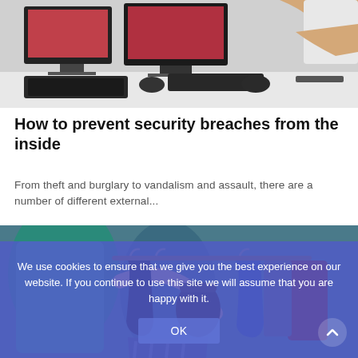[Figure (photo): Photo of a person sitting at a desk with computer monitors and keyboard, viewed from side]
How to prevent security breaches from the inside
From theft and burglary to vandalism and assault, there are a number of different external...
[Figure (photo): Photo of a person browsing through hanging clothes on a rack, suggesting shoplifting scenario]
We use cookies to ensure that we give you the best experience on our website. If you continue to use this site we will assume that you are happy with it.